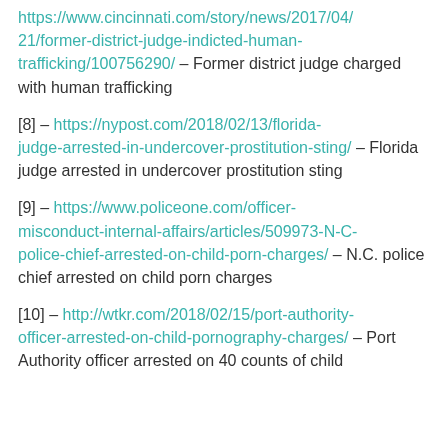https://www.cincinnati.com/story/news/2017/04/21/former-district-judge-indicted-human-trafficking/100756290/ – Former district judge charged with human trafficking
[8] – https://nypost.com/2018/02/13/florida-judge-arrested-in-undercover-prostitution-sting/ – Florida judge arrested in undercover prostitution sting
[9] – https://www.policeone.com/officer-misconduct-internal-affairs/articles/509973-N-C-police-chief-arrested-on-child-porn-charges/ – N.C. police chief arrested on child porn charges
[10] – http://wtkr.com/2018/02/15/port-authority-officer-arrested-on-child-pornography-charges/ – Port Authority officer arrested on 40 counts of child pornography by WTKR